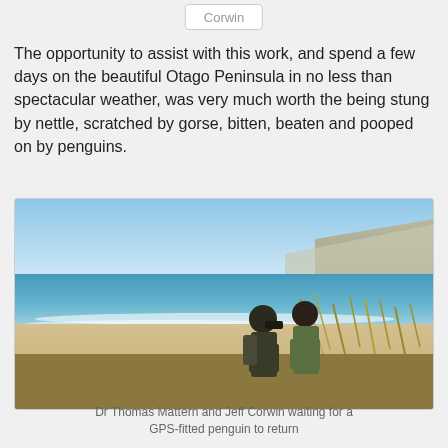Corwin
The opportunity to assist with this work, and spend a few days on the beautiful Otago Peninsula in no less than spectacular weather, was very much worth the being stung by nettle, scratched by gorse, bitten, beaten and pooped on by penguins.
[Figure (photo): Two people silhouetted against a coastal beach scene with blue ocean, sandy shore, coastal hills, and tall grasses. Dr Thomas Mattern and Jeff Corwin waiting for a GPS-fitted penguin to return.]
Dr Thomas Mattern and Jeff Corwin waiting for a GPS-fitted penguin to return